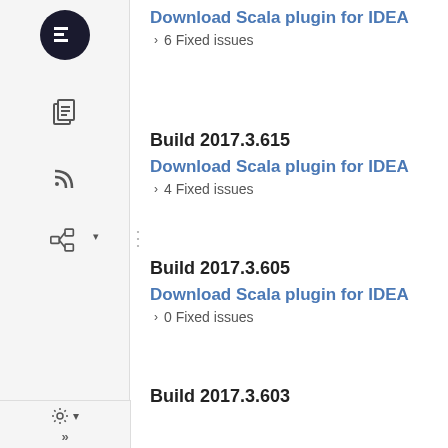Download Scala plugin for IDEA
› 6 Fixed issues
Build 2017.3.615
Download Scala plugin for IDEA
› 4 Fixed issues
Build 2017.3.605
Download Scala plugin for IDEA
› 0 Fixed issues
Build 2017.3.603
Download Scala plugin for IDEA
› 0 Fixed issues
Build 2017.3.600
Download Scala plugin for IDEA